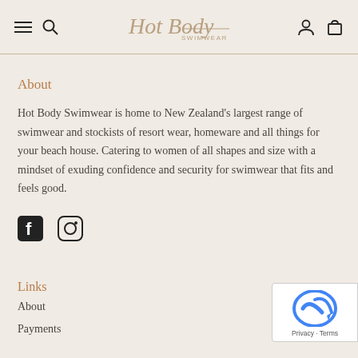Hot Body Swimwear — navigation header with menu, search, account, cart icons
About
Hot Body Swimwear is home to New Zealand's largest range of swimwear and stockists of resort wear, homeware and all things for your beach house. Catering to women of all shapes and size with a mindset of exuding confidence and security for swimwear that fits and feels good.
[Figure (illustration): Facebook and Instagram social media icons]
Links
About
Payments